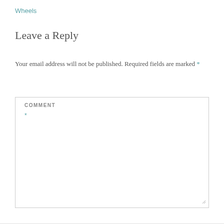Wheels
Leave a Reply
Your email address will not be published. Required fields are marked *
COMMENT
*